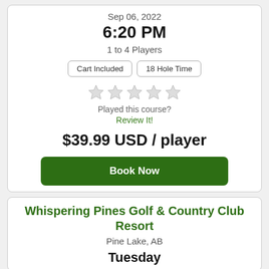Sep 06, 2022
6:20 PM
1 to 4 Players
Cart Included
18 Hole Time
[Figure (other): Five empty star rating icons]
Played this course?
Review It!
$39.99 USD / player
Book Now
Whispering Pines Golf & Country Club Resort
Pine Lake, AB
Tuesday